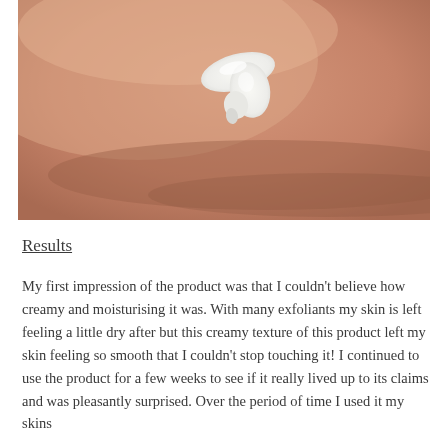[Figure (photo): Close-up photo of a dab of white cream on skin (arm/wrist area), showing the creamy texture of a moisturising exfoliant product against warm-toned skin.]
Results
My first impression of the product was that I couldn't believe how creamy and moisturising it was. With many exfoliants my skin is left feeling a little dry after but this creamy texture of this product left my skin feeling so smooth that I couldn't stop touching it! I continued to use the product for a few weeks to see if it really lived up to its claims and was pleasantly surprised. Over the period of time I used it my skins